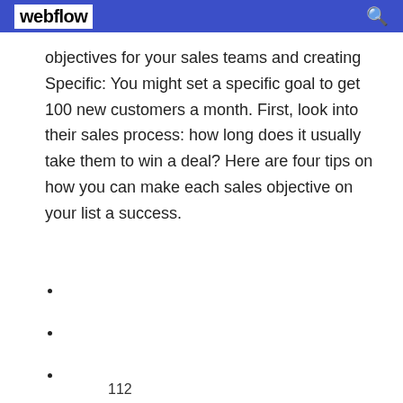webflow
objectives for your sales teams and creating Specific: You might set a specific goal to get 100 new customers a month. First, look into their sales process: how long does it usually take them to win a deal? Here are four tips on how you can make each sales objective on your list a success.
112